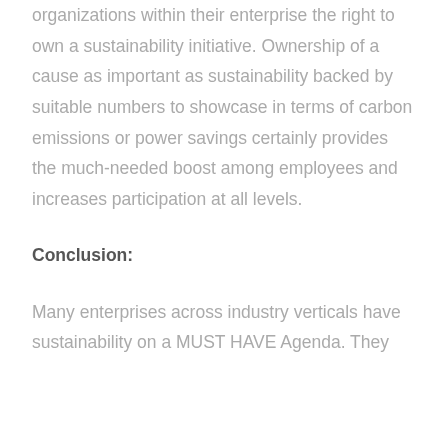organizations within their enterprise the right to own a sustainability initiative. Ownership of a cause as important as sustainability backed by suitable numbers to showcase in terms of carbon emissions or power savings certainly provides the much-needed boost among employees and increases participation at all levels.
Conclusion:
Many enterprises across industry verticals have sustainability on a MUST HAVE Agenda. They